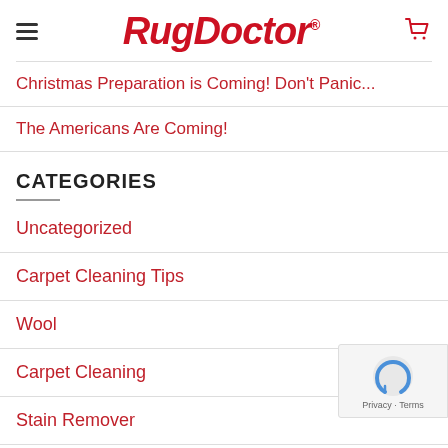RugDoctor
Christmas Preparation is Coming! Don't Panic...
The Americans Are Coming!
CATEGORIES
Uncategorized
Carpet Cleaning Tips
Wool
Carpet Cleaning
Stain Remover